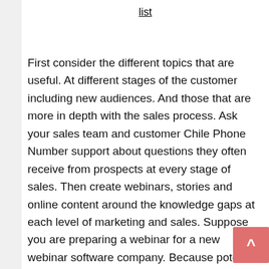list
First consider the different topics that are useful. At different stages of the customer including new audiences. And those that are more in depth with the sales process. Ask your sales team and customer Chile Phone Number support about questions they often receive from prospects at every stage of sales. Then create webinars, stories and online content around the knowledge gaps at each level of marketing and sales. Suppose you are preparing a webinar for a new webinar software company. Because potential viewers may have little or no Chile Phone Number knowledge of your product they may consider to choose a product